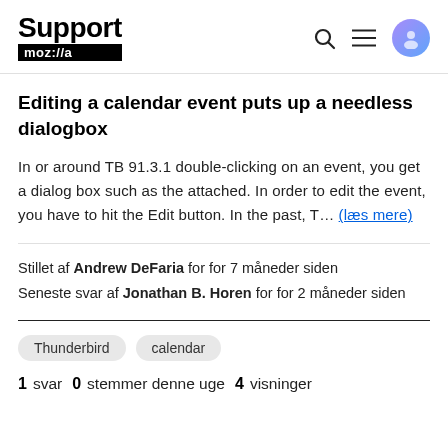Support mozilla // a
Editing a calendar event puts up a needless dialogbox
In or around TB 91.3.1 double-clicking on an event, you get a dialog box such as the attached. In order to edit the event, you have to hit the Edit button. In the past, T… (læs mere)
Stillet af Andrew DeFaria for for 7 måneder siden
Seneste svar af Jonathan B. Horen for for 2 måneder siden
Thunderbird   calendar
1 svar  0 stemmer denne uge  4 visninger